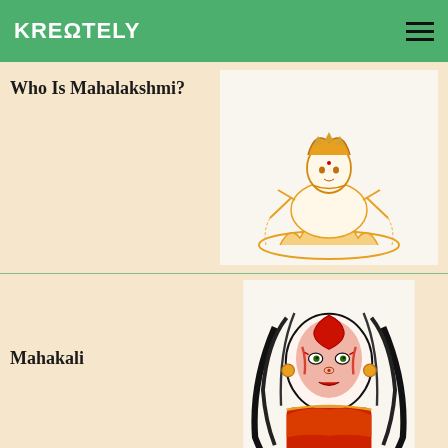KREΩTELY
Who Is Mahalakshmi?
[Figure (illustration): Line art illustration of Mahalakshmi, a Hindu goddess seated on a lotus, drawn in gold/orange tones]
Mahakali
[Figure (illustration): Colorful illustration of Mahakali, a Hindu goddess, depicted with red face paint, long black hair, and red and gold clothing]
Who Is Mahasarasvati?
[Figure (illustration): Kreontely image-not-found placeholder with green logo text and 'IMAGE NOT FOUND' caption]